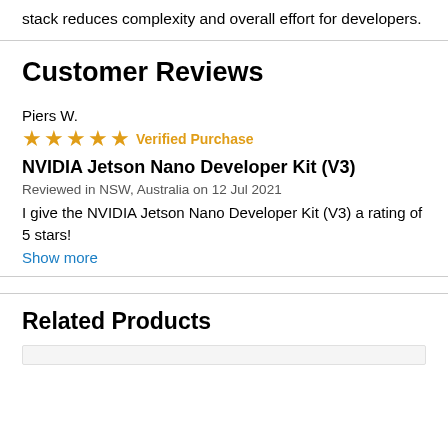stack reduces complexity and overall effort for developers.
Customer Reviews
Piers W.
★★★★★ Verified Purchase
NVIDIA Jetson Nano Developer Kit (V3)
Reviewed in NSW, Australia on 12 Jul 2021
I give the NVIDIA Jetson Nano Developer Kit (V3) a rating of 5 stars!
Show more
Related Products